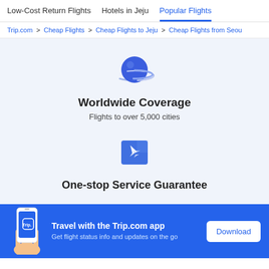Low-Cost Return Flights  Hotels in Jeju  Popular Flights
Trip.com > Cheap Flights > Cheap Flights to Jeju > Cheap Flights from Seou
[Figure (illustration): Blue planet/globe icon with orbital ring]
Worldwide Coverage
Flights to over 5,000 cities
[Figure (illustration): Blue square icon with white airplane silhouette]
One-stop Service Guarantee
Travel with the Trip.com app
Get flight status info and updates on the go